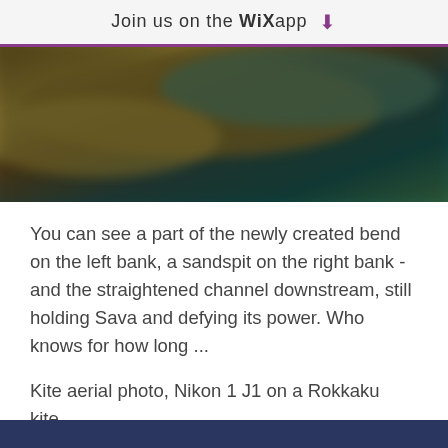Join us on the WiX app ↓
[Figure (photo): Blurred aerial kite photo showing a river bend with a sandspit and channel]
You can see a part of the newly created bend on the left bank, a sandspit on the right bank - and the straightened channel downstream, still holding Sava and defying its power. Who knows for how long ...
Kite aerial photo, Nikon 1 J1 on a Rokkaku kite.